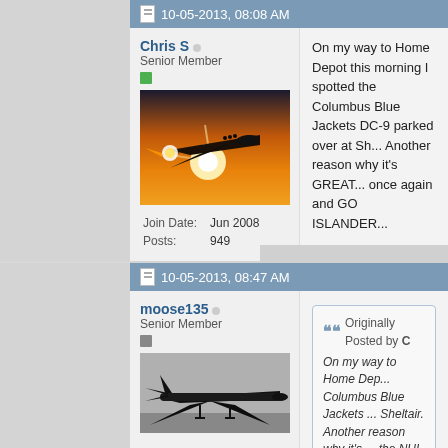10-05-2013, 08:08 AM
Chris S — Senior Member
Join Date: Jun 2008
Posts: 949
[Figure (photo): Fighter jet silhouette against a sunset/sunrise sky]
On my way to Home Depot this morning I spotted the Columbus Blue Jackets DC-9 parked over at Sh... Another reason why it's GREAT... the NHL season once again and GO ISLANDER...
10-05-2013, 08:47 AM
moose135 — Senior Member
[Figure (photo): Large aircraft (appears to be a DC-9 or similar) landing or in low flight, black and white/silhouette]
Originally Posted by C
On my way to Home Dep... Columbus Blue Jackets... Sheltair.
Another reason why it's... the NHL season once ag...